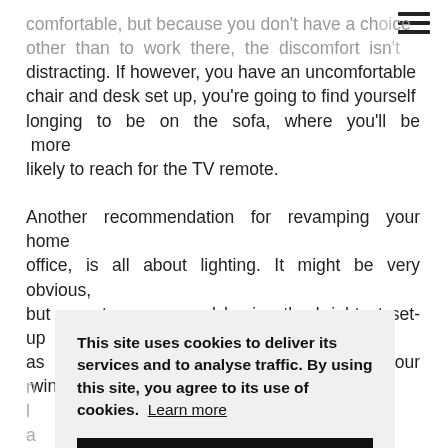comfortable, but because you don't have a choice other than to work there, the discomfort isn't distracting. If however, you have an uncomfortable chair and desk set up, you're going to find yourself longing to be on the sofa, where you'll be more likely to reach for the TV remote.
Another recommendation for revamping your home office, is all about lighting. It might be very obvious, but experts recommend having the brightest set-up as possible. Move your desk near your window, as n... ficial l... oney a... d it'll h...
This site uses cookies to deliver its services and to analyse traffic. By using this site, you agree to its use of cookies. Learn more
OK
l... ey're h... ty of s... from t... oom too. Some plants can help with humidity levels and...